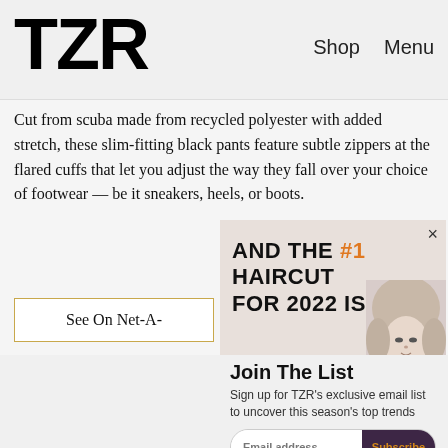TZR   Shop   Menu
Cut from scuba made from recycled polyester with added stretch, these slim-fitting black pants feature subtle zippers at the flared cuffs that let you adjust the way they fall over your choice of footwear — be it sneakers, heels, or boots.
[Figure (screenshot): Advertisement overlay showing text 'AND THE #1 HAIRCUT FOR 2022 IS...' with a woman's face photo, and a close (×) button.]
See On Net-A-
Join The List
Sign up for TZR's exclusive email list to uncover this season's top trends
Email address   Subscribe